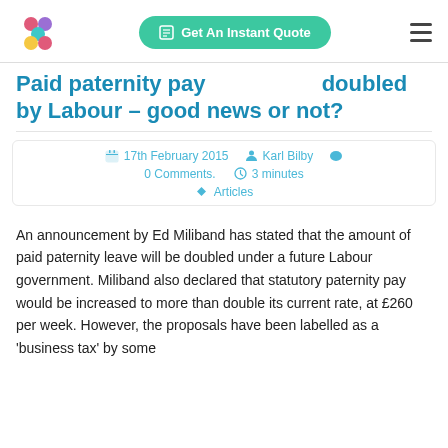Get An Instant Quote
Paid paternity pay doubled by Labour – good news or not?
17th February 2015   Karl Bilby   0 Comments.   3 minutes   Articles
An announcement by Ed Miliband has stated that the amount of paid paternity leave will be doubled under a future Labour government. Miliband also declared that statutory paternity pay would be increased to more than double its current rate, at £260 per week. However, the proposals have been labelled as a 'business tax' by some